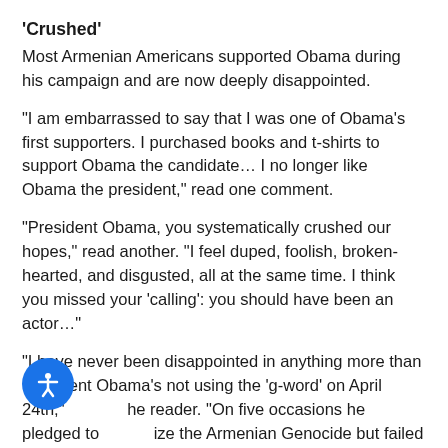'Crushed'
Most Armenian Americans supported Obama during his campaign and are now deeply disappointed.
“I am embarrassed to say that I was one of Obama’s first supporters. I purchased books and t-shirts to support Obama the candidate… I no longer like Obama the president,” read one comment.
“President Obama, you systematically crushed our hopes,” read another. “I feel duped, foolish, broken-hearted, and disgusted, all at the same time. I think you missed your ‘calling’: you should have been an actor…”
“I have never been disappointed in anything more than President Obama’s not using the ‘g-word’ on April 24th,” he reader. “On five occasions he pledged to ize the Armenian Genocide but failed as a president